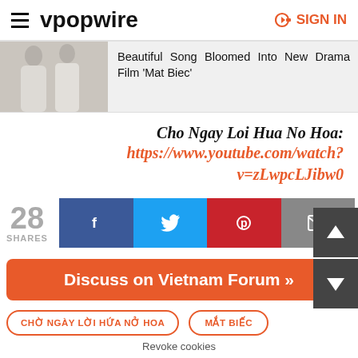vpopwire  SIGN IN
[Figure (photo): Two people in white shirts, article preview image for Mat Biec drama film]
Beautiful Song Bloomed Into New Drama Film 'Mat Biec'
Cho Ngay Loi Hua No Hoa: https://www.youtube.com/watch?v=zLwpcLJibw0
28 SHARES
[Figure (infographic): Social share buttons: Facebook, Twitter, Pinterest, Email]
Discuss on Vietnam Forum »
CHỜ NGÀY LỜI HỨA NỞ HOA
MẮT BIẾC
Revoke cookies